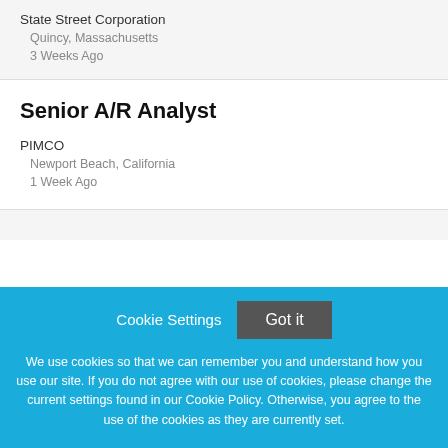State Street Corporation
Quincy, Massachusetts
3 Weeks Ago
Senior A/R Analyst
PIMCO
Newport Beach, California
1 Week Ago
Cookie Settings
Got it
We use cookies so that we can remember you and understand how you use our site. If you do not agree with our use of cookies, please change the current settings found in our Cookie Policy. Otherwise, you agree to the use of the cookies as they are currently set.